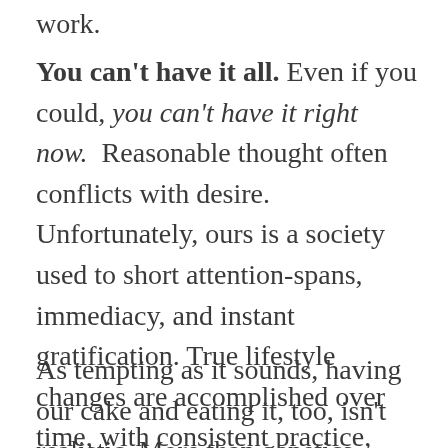work.
You can't have it all. Even if you could, you can't have it right now.  Reasonable thought often conflicts with desire. Unfortunately, ours is a society used to short attention-spans, immediacy, and instant gratification. True lifestyle changes are accomplished over time, with consistent practice, and lots of patience. That can be a poor fit in an ersatz society.
As tempting as it sounds, having our cake and eating it, too, isn't realistic. More than genetics alone, successful weight control